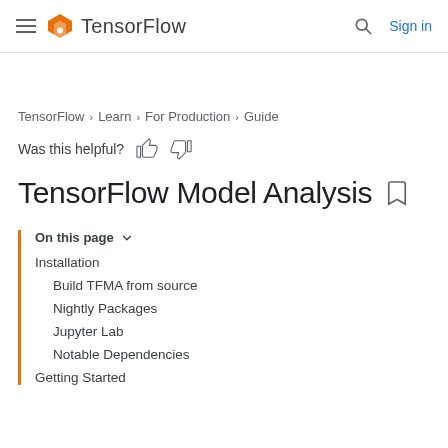TensorFlow | Sign in
TensorFlow > Learn > For Production > Guide
Was this helpful?
TensorFlow Model Analysis
On this page
Installation
Build TFMA from source
Nightly Packages
Jupyter Lab
Notable Dependencies
Getting Started